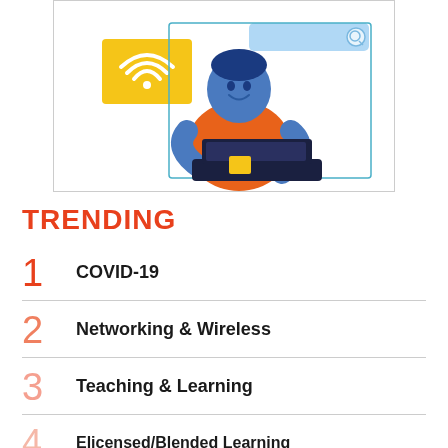[Figure (illustration): Illustration of a person with blue skin wearing an orange shirt, typing on a dark laptop. Yellow wifi icon box on the left, light blue search bar on the upper right, set against a white framed background.]
TRENDING
1 COVID-19
2 Networking & Wireless
3 Teaching & Learning
4 Elicensed/Blended Learning